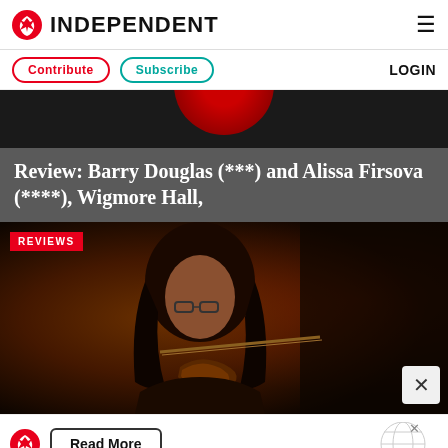INDEPENDENT
Contribute  Subscribe  LOGIN
[Figure (photo): Dark background with partial red circular logo element at top]
Review: Barry Douglas (***) and Alissa Firsova (****), Wigmore Hall,
[Figure (photo): Close-up photo of a male violinist with long dark hair and glasses playing violin against a warm orange and dark background, with REVIEWS badge in top-left corner]
Read More